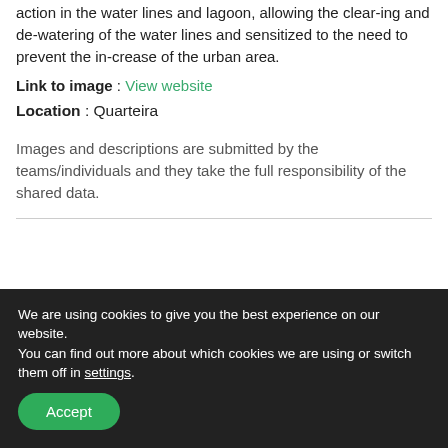action in the water lines and lagoon, allowing the clear-ing and de-watering of the water lines and sensitized to the need to prevent the in-crease of the urban area.
Link to image : View website
Location : Quarteira
Images and descriptions are submitted by the teams/individuals and they take the full responsibility of the shared data.
We are using cookies to give you the best experience on our website.
You can find out more about which cookies we are using or switch them off in settings.